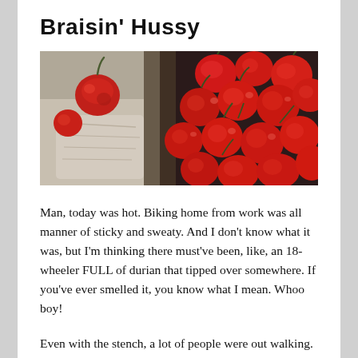Braisin' Hussy
[Figure (photo): Close-up photo of fresh red cherries, some in a light fabric bag and many piled together, on a dark background.]
Man, today was hot. Biking home from work was all manner of sticky and sweaty. And I don't know what it was, but I'm thinking there must've been, like, an 18-wheeler FULL of durian that tipped over somewhere. If you've ever smelled it, you know what I mean. Whoo boy!
Even with the stench, a lot of people were out walking. There was a pretty good breeze going, so I